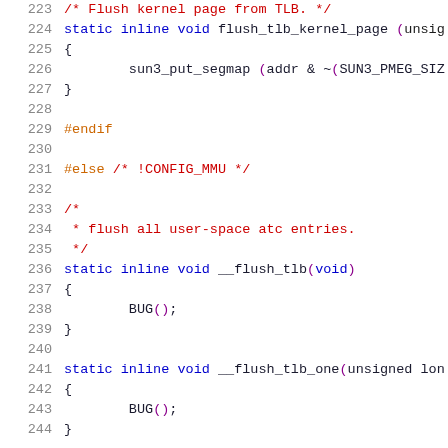223  /* Flush kernel page from TLB. */
224  static inline void flush_tlb_kernel_page (unsig
225  {
226          sun3_put_segmap (addr & ~(SUN3_PMEG_SIZ
227  }
228
229  #endif
230
231  #else /* !CONFIG_MMU */
232
233  /*
234   * flush all user-space atc entries.
235   */
236  static inline void __flush_tlb(void)
237  {
238          BUG();
239  }
240
241  static inline void __flush_tlb_one(unsigned lon
242  {
243          BUG();
244  }